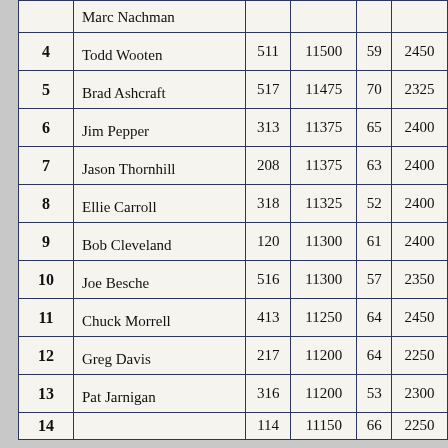| Rank | Name | Col3 | Col4 | Col5 | Col6 |
| --- | --- | --- | --- | --- | --- |
|  | Marc Nachman |  |  |  |  |
| 4 | Todd Wooten | 511 | 11500 | 59 | 2450 |
| 5 | Brad Ashcraft | 517 | 11475 | 70 | 2325 |
| 6 | Jim Pepper | 313 | 11375 | 65 | 2400 |
| 7 | Jason Thornhill | 208 | 11375 | 63 | 2400 |
| 8 | Ellie Carroll | 318 | 11325 | 52 | 2400 |
| 9 | Bob Cleveland | 120 | 11300 | 61 | 2400 |
| 10 | Joe Besche | 516 | 11300 | 57 | 2350 |
| 11 | Chuck Morrell | 413 | 11250 | 64 | 2450 |
| 12 | Greg Davis | 217 | 11200 | 64 | 2250 |
| 13 | Pat Jarnigan | 316 | 11200 | 53 | 2300 |
| 14 |  | 114 | 11150 | 66 | 2250 |